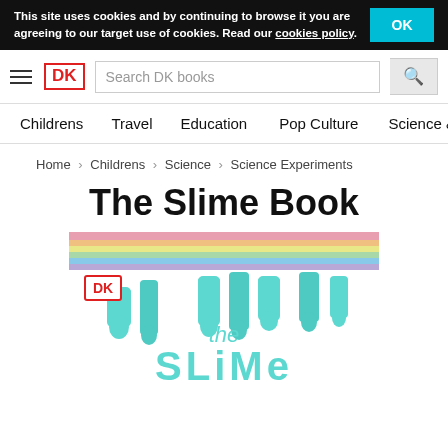This site uses cookies and by continuing to browse it you are agreeing to our target use of cookies. Read our cookies policy.
[Figure (logo): DK publisher logo — red bordered box with DK text]
Search DK books
Childrens
Travel
Education
Pop Culture
Science &
Home > Childrens > Science > Science Experiments
The Slime Book
[Figure (photo): Cover of 'The Slime Book' published by DK showing colorful slime dripping from a rainbow background with teal letters spelling 'the SLIME']